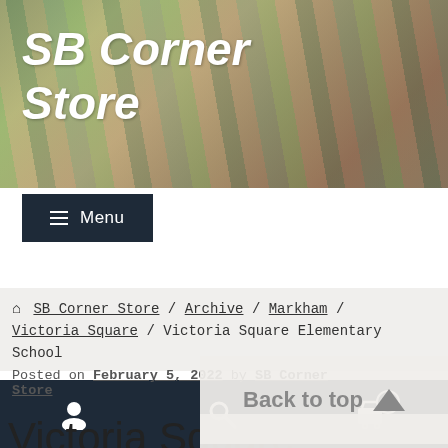SB Corner Store
[Figure (other): Website header banner with blurred colorful background (greens, browns, muted tones) showing the SB Corner Store site title]
≡ Menu
🏠 SB Corner Store / Archive / Markham / Victoria Square / Victoria Square Elementary School
Posted on February 5, 2022 by SB Corner Store
Back to top ▲
Victoria Square